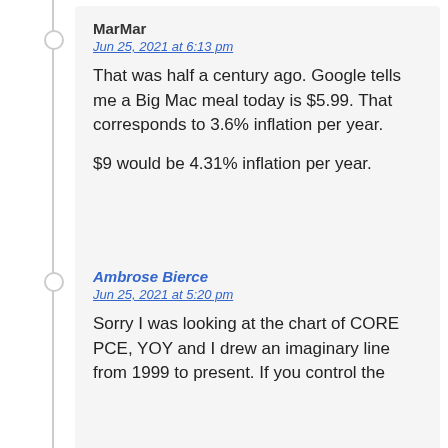MarMar
Jun 25, 2021 at 6:13 pm
That was half a century ago. Google tells me a Big Mac meal today is $5.99. That corresponds to 3.6% inflation per year.

$9 would be 4.31% inflation per year.
Ambrose Bierce
Jun 25, 2021 at 5:20 pm
Sorry I was looking at the chart of CORE PCE, YOY and I drew an imaginary line from 1999 to present. If you control the